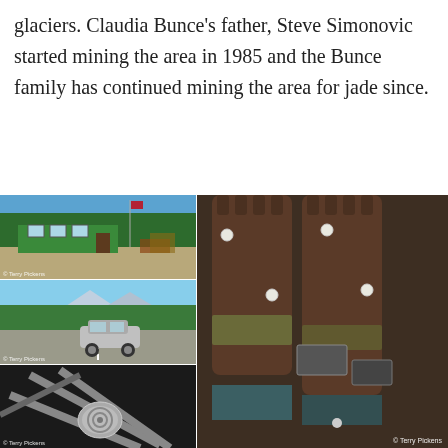glaciers. Claudia Bunce's father, Steve Simonovic started mining the area in 1985 and the Bunce family has continued mining the area for jade since.
[Figure (photo): Green building / store front with trees behind and vehicles parked in front, American flag on pole]
[Figure (photo): Silver SUV driving on a gravel road with evergreen trees and mountains in background]
[Figure (photo): Black and white close-up of old wooden wagon wheel with metal horn/bell detail]
[Figure (photo): Large rusty industrial mining equipment cylinders/drill bits, credit: Terry Pickens]
[Figure (photo): Partial view of bottom strip photos in black and white]